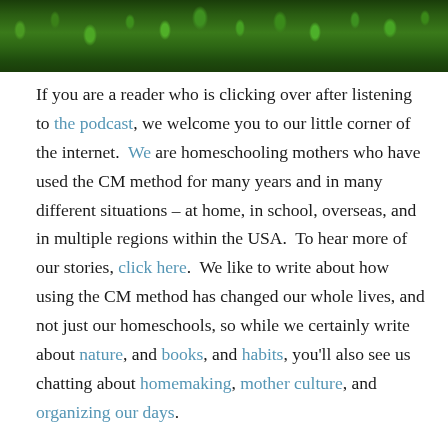[Figure (photo): Top portion of a photograph showing green grass or foliage, cropped at the top of the page.]
If you are a reader who is clicking over after listening to the podcast, we welcome you to our little corner of the internet. We are homeschooling mothers who have used the CM method for many years and in many different situations – at home, in school, overseas, and in multiple regions within the USA. To hear more of our stories, click here. We like to write about how using the CM method has changed our whole lives, and not just our homeschools, so while we certainly write about nature, and books, and habits, you'll also see us chatting about homemaking, mother culture, and organizing our days.
If you are a long time reader, we invite you to head over to hear Amy speaking today on the podcast! We'd love to hear about